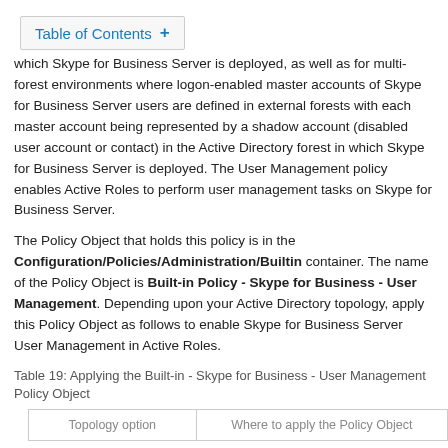Table of Contents +
which Skype for Business Server is deployed, as well as for multi-forest environments where logon-enabled master accounts of Skype for Business Server users are defined in external forests with each master account being represented by a shadow account (disabled user account or contact) in the Active Directory forest in which Skype for Business Server is deployed. The User Management policy enables Active Roles to perform user management tasks on Skype for Business Server.
The Policy Object that holds this policy is in the Configuration/Policies/Administration/Builtin container. The name of the Policy Object is Built-in Policy - Skype for Business - User Management. Depending upon your Active Directory topology, apply this Policy Object as follows to enable Skype for Business Server User Management in Active Roles.
Table 19: Applying the Built-in - Skype for Business - User Management Policy Object
| Topology option | Where to apply the Policy Object |
| --- | --- |